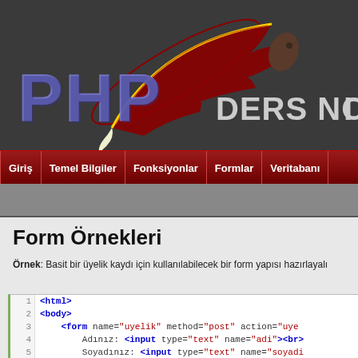[Figure (logo): PHP Ders Notları website header with PHP logo (feather/quill graphic) and text 'PHP DERS NOTI' on dark gray background]
Giriş | Temel Bilgiler | Fonksiyonlar | Formlar | Veritabanı
Form Örnekleri
Örnek: Basit bir üyelik kaydı için kullanılabilecek bir form yapısı hazırlayalı
1  <html>
2  <body>
3      <form name="uyelik" method="post" action="uye
4          Adınız: <input type="text" name="adi"><br>
5          Soyadınız: <input type="text" name="soyadi
6          Kullanıcı adınız: Adınız: <input type="tex
7          e-mail adresiniz: <input type="text" name=